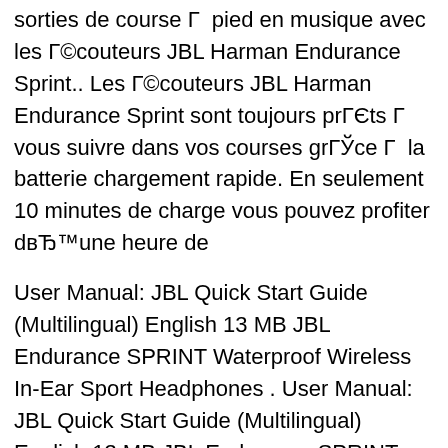sorties de course Г  pied en musique avec les Г©couteurs JBL Harman Endurance Sprint.. Les Г©couteurs JBL Harman Endurance Sprint sont toujours prГЄts Г  vous suivre dans vos courses grГЎce Г  la batterie chargement rapide. En seulement 10 minutes de charge vous pouvez profiter dвЂ™une heure de
User Manual: JBL Quick Start Guide (Multilingual) English 13 MB JBL Endurance SPRINT Waterproof Wireless In-Ear Sport Headphones . User Manual: JBL Quick Start Guide (Multilingual) English 13 MB JBL Endurance SPRINT Waterproof Wireless In-Ear Sport Headphones . JBL TR04480_JBL_Endurance_300